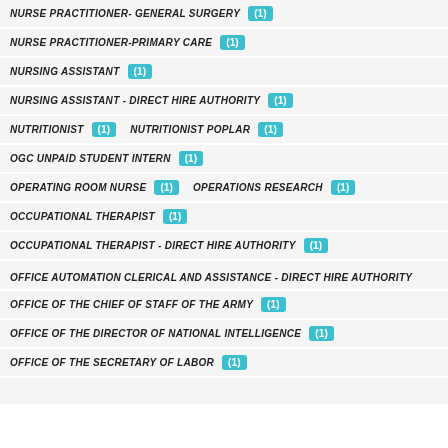NURSE PRACTITIONER- GENERAL SURGERY (1)
NURSE PRACTITIONER-PRIMARY CARE (1)
NURSING ASSISTANT (1)
NURSING ASSISTANT - DIRECT HIRE AUTHORITY (1)
NUTRITIONIST (1)  NUTRITIONIST POPLAR (1)
OGC UNPAID STUDENT INTERN (1)
OPERATING ROOM NURSE (1)  OPERATIONS RESEARCH (1)
OCCUPATIONAL THERAPIST (1)
OCCUPATIONAL THERAPIST - DIRECT HIRE AUTHORITY (1)
OFFICE AUTOMATION CLERICAL AND ASSISTANCE - DIRECT HIRE AUTHORITY
OFFICE OF THE CHIEF OF STAFF OF THE ARMY (1)
OFFICE OF THE DIRECTOR OF NATIONAL INTELLIGENCE (1)
OFFICE OF THE SECRETARY OF LABOR (1)